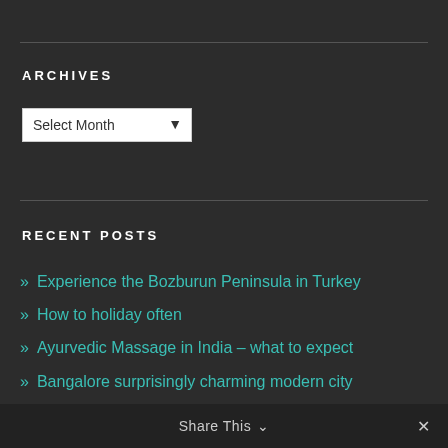ARCHIVES
[Figure (other): A dropdown select box labeled 'Select Month' with a chevron arrow]
RECENT POSTS
» Experience the Bozburun Peninsula in Turkey
» How to holiday often
» Ayurvedic Massage in India – what to expect
» Bangalore surprisingly charming modern city
» Visit Pondicherry in French India
Share This ∨  ✕